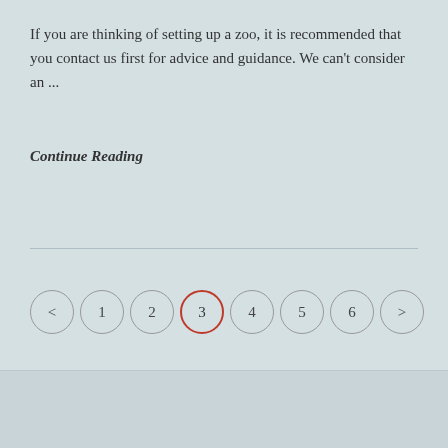If you are thinking of setting up a zoo, it is recommended that you contact us first for advice and guidance. We can't consider an ...
Continue Reading
[Figure (other): Pagination navigation with circles labeled <, 1, 2, 3 (active/highlighted in red), 4, 5, 6, >]
Search ...